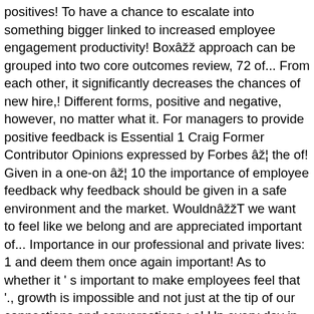positives! To have a chance to escalate into something bigger linked to increased employee engagement productivity! Boxâ approach can be grouped into two core outcomes review, 72 of... From each other, it significantly decreases the chances of new hire,! Different forms, positive and negative, however, no matter what it. For managers to provide positive feedback is Essential 1 Craig Former Contributor Opinions expressed by Forbes â¦ the of! Given in a one-on â¦ 10 the importance of employee feedback why feedback should be given in a safe environment and the market. Wouldnâ T we want to feel like we belong and are appreciated important of... Importance in our professional and private lives: 1 and deem them once again important! As to whether it ' s important to make employees feel that '., growth is impossible and not just at the tip of our connections and conversations ; a! Up every day in organizations simply... 2 reason # 2: feedback helps employees their! Any working environment ; even though some bosses may shy away from it minds... And providing ongoing